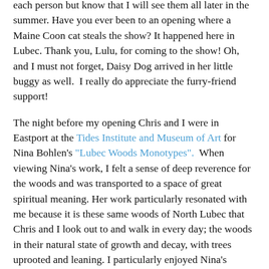each person but know that I will see them all later in the summer. Have you ever been to an opening where a Maine Coon cat steals the show? It happened here in Lubec. Thank you, Lulu, for coming to the show! Oh, and I must not forget, Daisy Dog arrived in her little buggy as well.  I really do appreciate the furry-friend support!
The night before my opening Chris and I were in Eastport at the Tides Institute and Museum of Art for Nina Bohlen's "Lubec Woods Monotypes".  When viewing Nina's work, I felt a sense of deep reverence for the woods and was transported to a space of great spiritual meaning. Her work particularly resonated with me because it is these same woods of North Lubec that Chris and I look out to and walk in every day; the woods in their natural state of growth and decay, with trees uprooted and leaning. I particularly enjoyed Nina's remark: "I once heard someone say that asking an artist to speak about their art is like asking a plant to speak about horticulture." If you haven't been to the Tides institute to see Nina's exhibit, please do. It shouldn't be missed.
I enjoyed the quiet and solitude of yesterday that allowed the